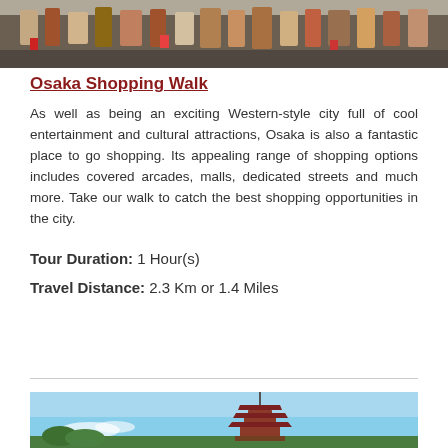[Figure (photo): Crowd of people walking on a busy street in Osaka, western-style city scene]
Osaka Shopping Walk
As well as being an exciting Western-style city full of cool entertainment and cultural attractions, Osaka is also a fantastic place to go shopping. Its appealing range of shopping options includes covered arcades, malls, dedicated streets and much more. Take our walk to catch the best shopping opportunities in the city.
Tour Duration: 1 Hour(s)
Travel Distance: 2.3 Km or 1.4 Miles
[Figure (photo): Japanese pagoda tower against a blue sky with trees below]